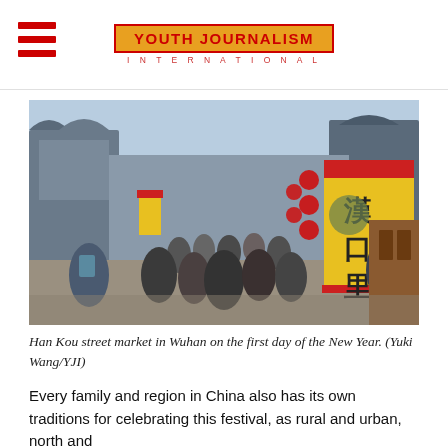YOUTH JOURNALISM INTERNATIONAL
[Figure (photo): A crowded Han Kou street market in Wuhan on the first day of the Chinese New Year. Traditional architecture lines the street, red lanterns hang from buildings, and a large yellow banner with Chinese characters (漢口里) is prominently displayed on the right. Many people wearing masks are walking through the market.]
Han Kou street market in Wuhan on the first day of the New Year. (Yuki Wang/YJI)
Every family and region in China also has its own traditions for celebrating this festival, as rural and urban, north and